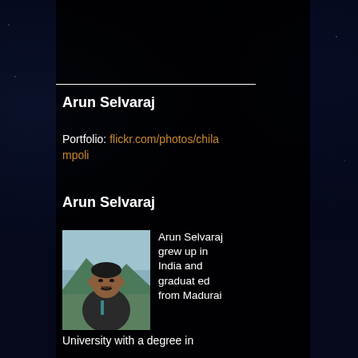Arun Selvaraj
Portfolio: flickr.com/photos/chilampoli
Arun Selvaraj
[Figure (photo): Headshot photo of Arun Selvaraj, a man with short dark hair, wearing a dark jacket, mountains and greenery in background]
Arun Selvaraj grew up in India and graduated from Madurai University with a degree in